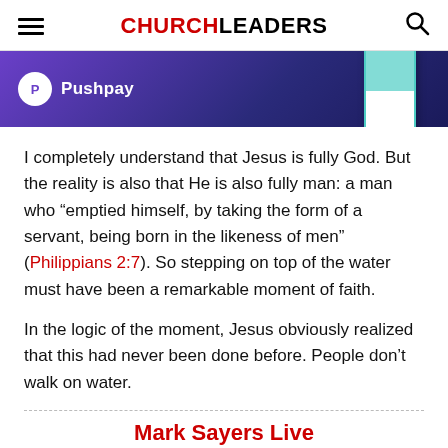CHURCHLEADERS
[Figure (photo): Pushpay advertisement banner with purple/dark blue gradient background, Pushpay logo with white circle and P icon, and a phone mockup on the right.]
I completely understand that Jesus is fully God. But the reality is also that He is also fully man: a man who “emptied himself, by taking the form of a servant, being born in the likeness of men” (Philippians 2:7). So stepping on top of the water must have been a remarkable moment of faith.
In the logic of the moment, Jesus obviously realized that this had never been done before. People don’t walk on water.
Mark Sayers Live
What’s happening in the church?